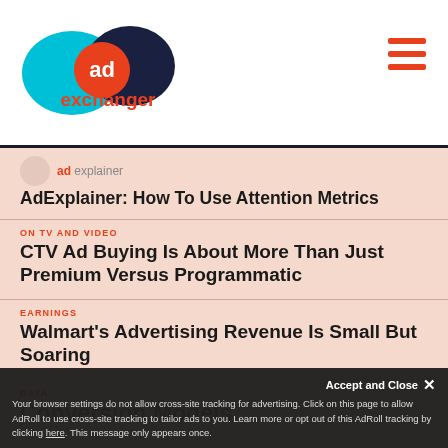AdExchanger
[Figure (logo): AdExchanger logo with cyan and dark blue overlapping circles and orange 'ad' text]
AdExplainer: How To Use Attention Metrics
ON TV AND VIDEO
CTV Ad Buying Is About More Than Just Premium Versus Programmatic
EARNINGS
Walmart's Advertising Revenue Is Small But Soaring
DATA
Conversion Models
Your browser settings do not allow cross-site tracking for advertising. Click on this page to allow AdRoll to use cross-site tracking to tailor ads to you. Learn more or opt out of this AdRoll tracking by clicking here. This message only appears once.